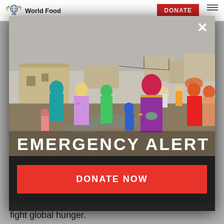UN WFP World Food | DONATE
[Figure (photo): Women and children in colorful traditional dress walking through a flooded muddy village with adobe buildings in the background. Emergency humanitarian scene.]
EMERGENCY ALERT
DONATE NOW
Millions have been left homeless and Stop, the brand's vital, annual campaign to fight global hunger.